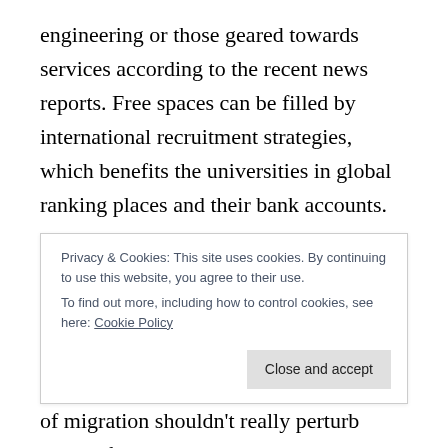engineering or those geared towards services according to the recent news reports. Free spaces can be filled by international recruitment strategies, which benefits the universities in global ranking places and their bank accounts.

As a parent with young kids, the solution for me is quite simple, and this is to move closer to the urban centres with greater diversity of educational
Privacy & Cookies: This site uses cookies. By continuing to use this website, you agree to their use.
To find out more, including how to control cookies, see here: Cookie Policy
of migration shouldn't really perturb many of us who